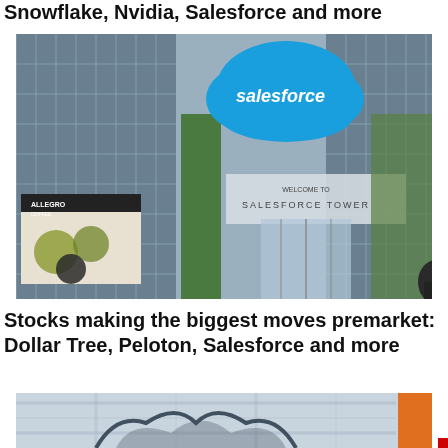Snowflake, Nvidia, Salesforce and more
[Figure (photo): Exterior of Salesforce Tower showing the Salesforce cloud logo sign and entrance with 'Welcome to Salesforce Tower' signage, street-level view with a coffee shop on the left.]
Stocks making the biggest moves premarket: Dollar Tree, Peloton, Salesforce and more
[Figure (photo): Partial image showing what appears to be a bull or animal figure, partially cropped at the bottom of the page.]